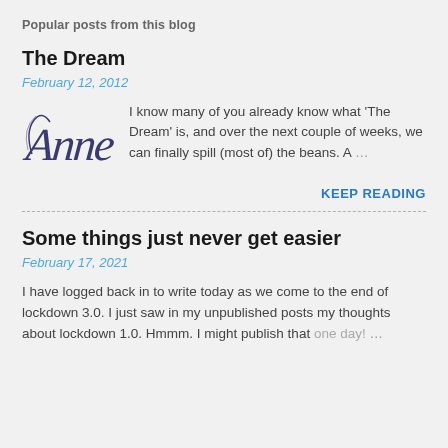Popular posts from this blog
The Dream
February 12, 2012
[Figure (illustration): Cursive script text reading 'Anne' in decorative calligraphy style]
I know many of you already know what 'The Dream' is, and over the next couple of weeks, we can finally spill (most of) the beans. A …
KEEP READING
Some things just never get easier
February 17, 2021
I have logged back in to write today as we come to the end of lockdown 3.0. I just saw in my unpublished posts my thoughts about lockdown 1.0. Hmmm. I might publish that one day! …